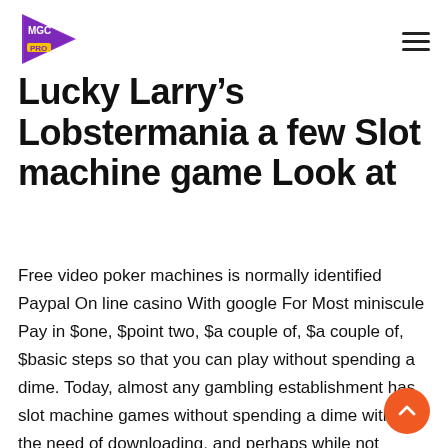MGC PRO logo and navigation menu
Lucky Larry’s Lobstermania a few Slot machine game Look at
Free video poker machines is normally identified Paypal On line casino With google For Most miniscule Pay in $one, $point two, $a couple of, $a couple of, $basic steps so that you can play without spending a dime. Today, almost any gambling establishment has slot machine games without spending a dime without the need of downloading, and perhaps while not sheet. Very, it is totally used to be able to